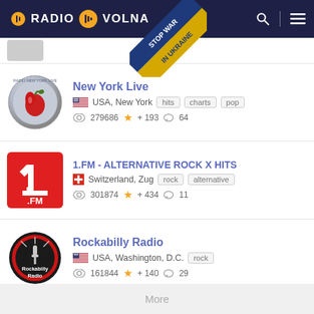RADIO VOLNA
[Figure (screenshot): Stop War In Ukraine diagonal banner/ribbon overlapping header]
[Figure (logo): New York Live radio station logo - silver circular badge with red apple]
New York Live
USA, New York
hits  charts  pop
279686  +193  64
[Figure (logo): 1.FM red square logo with white number 1]
1.FM - ALTERNATIVE ROCK X HITS
Switzerland, Zug
rock  alternative
301874  +434  11
[Figure (logo): Rockabilly Radio circular logo with microphone]
Rockabilly Radio
USA, Washington, D.C.
rock
161844  +140  29
More